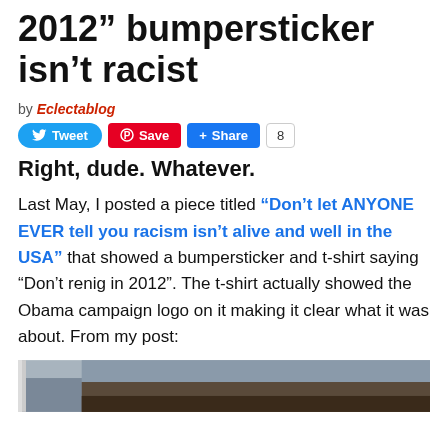2012” bumpersticker isn’t racist
by Eclectablog
Right, dude. Whatever.
Last May, I posted a piece titled “Don’t let ANYONE EVER tell you racism isn’t alive and well in the USA” that showed a bumpersticker and t-shirt saying “Don’t renig in 2012”. The t-shirt actually showed the Obama campaign logo on it making it clear what it was about. From my post:
[Figure (photo): Partial photo of a vehicle with a bumpersticker visible, dark tones]